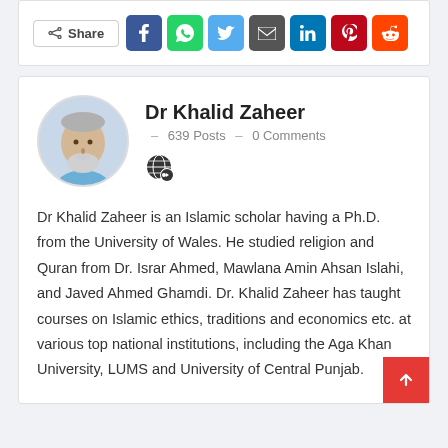[Figure (other): Share button row with social media icons: Facebook, WhatsApp, Twitter, Email, LinkedIn, Pinterest, Reddit]
[Figure (photo): Circular profile photo of Dr Khalid Zaheer, an older man with gray beard and blue shirt]
Dr Khalid Zaheer
639 Posts  -  0 Comments
Dr Khalid Zaheer is an Islamic scholar having a Ph.D. from the University of Wales. He studied religion and Quran from Dr. Israr Ahmed, Mawlana Amin Ahsan Islahi, and Javed Ahmed Ghamdi. Dr. Khalid Zaheer has taught courses on Islamic ethics, traditions and economics etc. at various top national institutions, including the Aga Khan University, LUMS and University of Central Punjab.